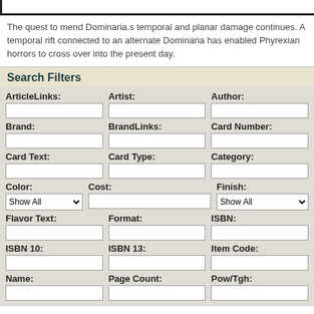The quest to mend Dominaria.s temporal and planar damage continues. A temporal rift connected to an alternate Dominaria has enabled Phyrexian horrors to cross over into the present day.
Search Filters
ArticleLinks: [input] Artist: [input] Author: [input] Brand: [input] BrandLinks: [input] Card Number: [input] Card Text: [input] Card Type: [input] Category: [input] Color: Show All [dropdown] Cost: [input] Finish: Show All [dropdown] Flavor Text: [input] Format: [input] ISBN: [input] ISBN 10: [input] ISBN 13: [input] Item Code: [input] Name: [input] Page Count: [input] Pow/Tgh: [input]